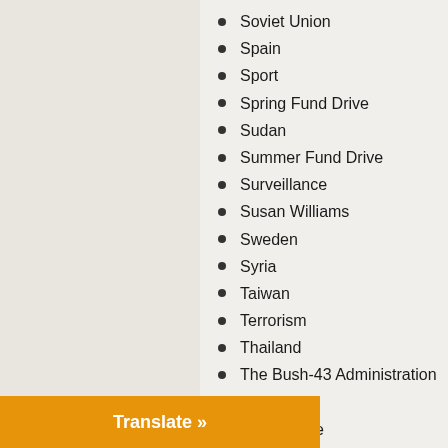Soviet Union
Spain
Sport
Spring Fund Drive
Sudan
Summer Fund Drive
Surveillance
Susan Williams
Sweden
Syria
Taiwan
Terrorism
Thailand
The Bush-43 Administration
Theater
Timor Leste
Torture
Trump Administration
Tunisia